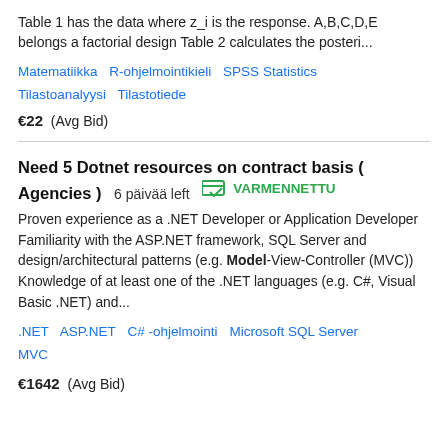Table 1 has the data where z_i is the response. A,B,C,D,E belongs a factorial design Table 2 calculates the posteri...
Matematiikka   R-ohjelmointikieli   SPSS Statistics   Tilastoanalyysi   Tilastotiede
€22  (Avg Bid)
Need 5 Dotnet resources on contract basis ( Agencies )
6 päivää left   VARMENNETTU
Proven experience as a .NET Developer or Application Developer Familiarity with the ASP.NET framework, SQL Server and design/architectural patterns (e.g. Model-View-Controller (MVC)) Knowledge of at least one of the .NET languages (e.g. C#, Visual Basic .NET) and...
.NET   ASP.NET   C# -ohjelmointi   Microsoft SQL Server   MVC
€1642  (Avg Bid)